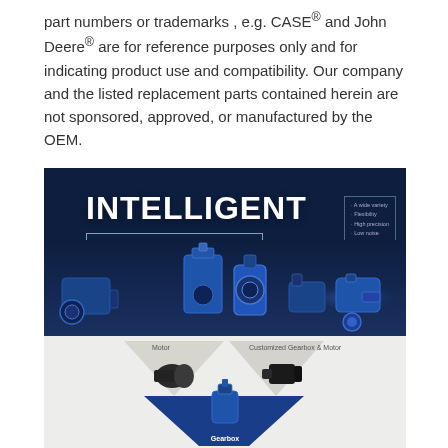part numbers or trademarks , e.g. CASE® and John Deere® are for reference purposes only and for indicating product use and compatibility. Our company and the listed replacement parts contained herein are not sponsored, approved, or manufactured by the OEM.
[Figure (photo): Top panel: Dark blue promotional banner with 'INTELLIGENT GEARBOX & MOTOR' text and product feature list on the right; multiple blue industrial gearbox and motor products displayed. Bottom panel: White/light background showing Motor, Customized Gearbox & Motor, and Gearbox product categories arranged in a diamond/chevron layout with product images.]